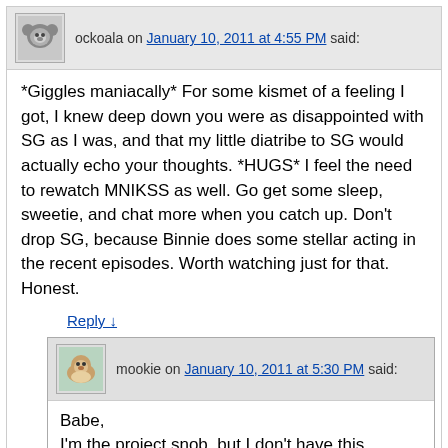ockoala on January 10, 2011 at 4:55 PM said:
*Giggles maniacally* For some kismet of a feeling I got, I knew deep down you were as disappointed with SG as I was, and that my little diatribe to SG would actually echo your thoughts. *HUGS* I feel the need to rewatch MNIKSS as well. Go get some sleep, sweetie, and chat more when you catch up. Don't drop SG, because Binnie does some stellar acting in the recent episodes. Worth watching just for that. Honest.
Reply ↓
mookie on January 10, 2011 at 5:30 PM said:
Babe,
I'm the project snob, but I don't have this intense a hate on KES before SG, I've tasted every single one of her stuff but the signs, irking this IS trainwreck a coming miles away is all there, esp when KES has the expense of a great and popular cast. I'm totally giving up my watch of CH as personal vendetta (CH ep1-4